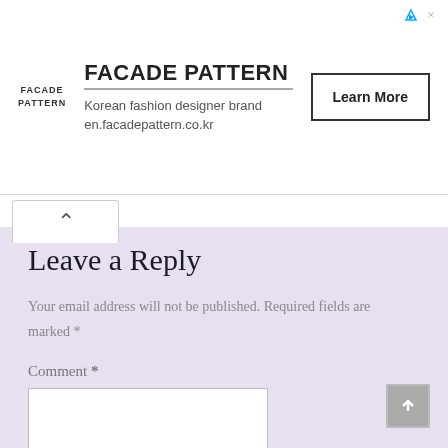[Figure (other): Advertisement banner for Facade Pattern Korean fashion designer brand with logo, text, and Learn More button]
Leave a Reply
Your email address will not be published. Required fields are marked *
Comment *